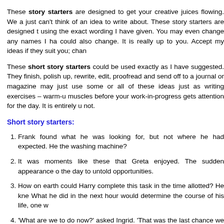These story starters are designed to get your creative juices flowing. We a just can't think of an idea to write about. These story starters are designed t using the exact wording I have given. You may even change any names I ha could also change. It is really up to you. Accept my ideas if they suit you; chan
These short story starters could be used exactly as I have suggested. They finish, polish up, rewrite, edit, proofread and send off to a journal or magazine may just use some or all of these ideas just as writing exercises – warm-u muscles before your work-in-progress gets attention for the day. It is entirely u not.
Short story starters:
Frank found what he was looking for, but not where he had expected. He the washing machine?
It was moments like these that Greta enjoyed. The sudden appearance o the day to untold opportunities.
How on earth could Harry complete this task in the time allotted? He kne What he did in the next hour would determine the course of his life, one w
'What are we to do now?' asked Ingrid. 'That was the last chance we had.